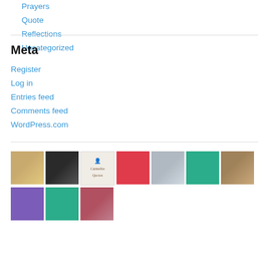Prayers
Quote
Reflections
Uncategorized
Meta
Register
Log in
Entries feed
Comments feed
WordPress.com
[Figure (photo): A row of thumbnail images including photos, illustrated covers, quilt patterns, and icons from various blogs/sites. Bottom row has two more thumbnails.]